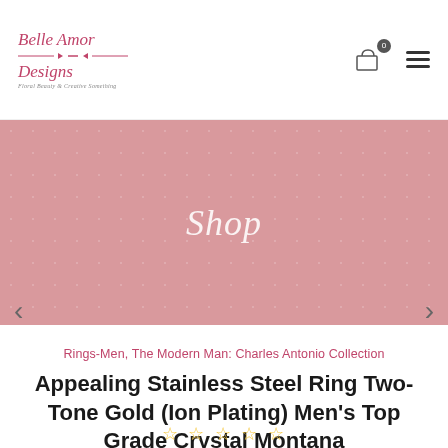[Figure (logo): Belle Amor Designs logo with cursive pink text and decorative divider line]
[Figure (illustration): Shopping cart icon with badge showing 0]
[Figure (illustration): Hamburger menu icon (three horizontal lines)]
[Figure (illustration): Pink polka-dot banner with 'Shop' text in white italic script]
Rings-Men, The Modern Man: Charles Antonio Collection
Appealing Stainless Steel Ring Two-Tone Gold (Ion Plating) Men's Top Grade Crystal Montana
[Figure (illustration): Five empty/outline star rating icons in gold/yellow color]